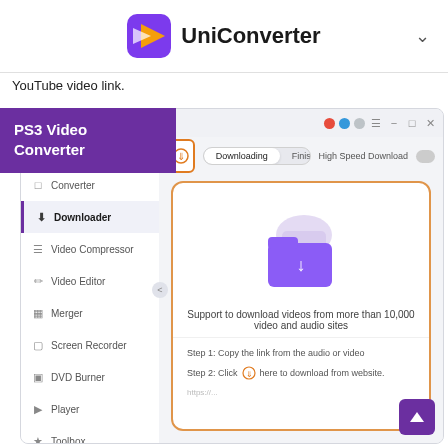[Figure (screenshot): UniConverter app logo and title in top bar with chevron]
YouTube video link.
PS3 Video Converter
[Figure (screenshot): UniConverter application window showing Downloader interface with sidebar menu items (Home, Converter, Downloader selected, Video Compressor, Video Editor, Merger, Screen Recorder, DVD Burner, Player, Toolbox), Downloading/Finished tabs, High Speed Download toggle, download folder area with purple folder icon, support text 'Support to download videos from more than 10,000 video and audio sites', and step instructions]